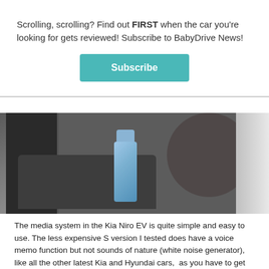Scrolling, scrolling? Find out FIRST when the car you're looking for gets reviewed! Subscribe to BabyDrive News!
[Figure (other): Subscribe button - teal/cyan colored button with white bold text 'Subscribe']
[Figure (photo): Interior photo of a car door panel showing a blue water bottle sitting in the door pocket, with a speaker grille visible and white car body on the right side]
The media system in the Kia Niro EV is quite simple and easy to use. The less expensive S version I tested does have a voice memo function but not sounds of nature (white noise generator), like all the other latest Kia and Hyundai cars,  as you have to get the top-spec Sport version for that.